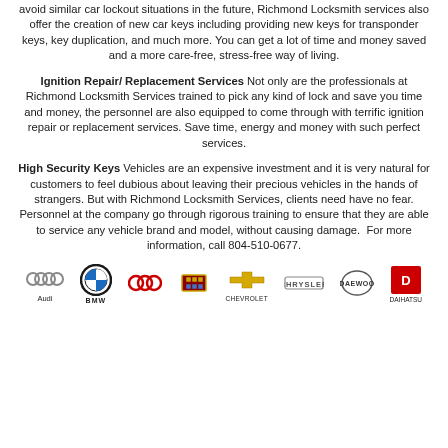avoid similar car lockout situations in the future, Richmond Locksmith services also offer the creation of new car keys including providing new keys for transponder keys, key duplication, and much more. You can get a lot of time and money saved and a more care-free, stress-free way of living.
Ignition Repair/ Replacement Services Not only are the professionals at Richmond Locksmith Services trained to pick any kind of lock and save you time and money, the personnel are also equipped to come through with terrific ignition repair or replacement services. Save time, energy and money with such perfect services.
High Security Keys Vehicles are an expensive investment and it is very natural for customers to feel dubious about leaving their precious vehicles in the hands of strangers. But with Richmond Locksmith Services, clients need have no fear. Personnel at the company go through rigorous training to ensure that they are able to service any vehicle brand and model, without causing damage.  For more information, call 804-510-0677.
[Figure (illustration): Row of car brand logos: Audi, BMW, Buick, Cadillac, Chevrolet, Chrysler, Daewoo, Daihatsu]